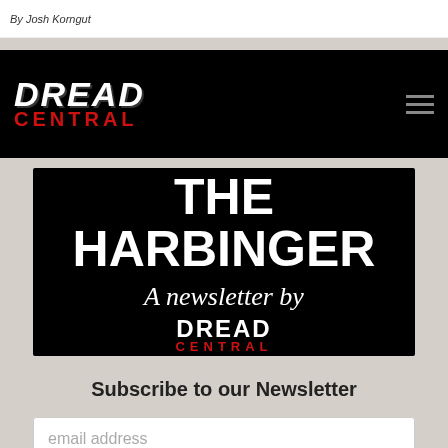By Josh Korngut
[Figure (logo): Dread Central navigation bar with logo (DREAD in white, CENTRAL in red) on black background and hamburger menu icon]
[Figure (illustration): The Harbinger newsletter banner: large white bold text 'THE HARBINGER', italic script 'A newsletter by', and Dread Central logo in white and red on black background]
Subscribe to our Newsletter
email address